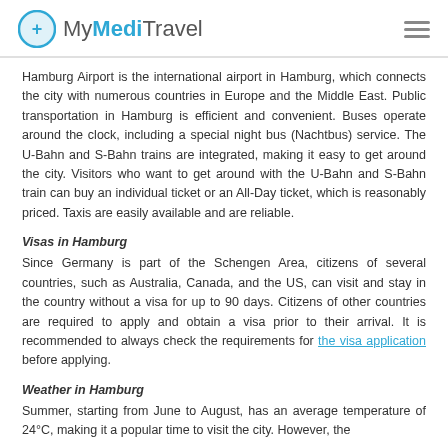MyMediTravel
Hamburg Airport is the international airport in Hamburg, which connects the city with numerous countries in Europe and the Middle East. Public transportation in Hamburg is efficient and convenient. Buses operate around the clock, including a special night bus (Nachtbus) service. The U-Bahn and S-Bahn trains are integrated, making it easy to get around the city. Visitors who want to get around with the U-Bahn and S-Bahn train can buy an individual ticket or an All-Day ticket, which is reasonably priced. Taxis are easily available and are reliable.
Visas in Hamburg
Since Germany is part of the Schengen Area, citizens of several countries, such as Australia, Canada, and the US, can visit and stay in the country without a visa for up to 90 days. Citizens of other countries are required to apply and obtain a visa prior to their arrival. It is recommended to always check the requirements for the visa application before applying.
Weather in Hamburg
Summer, starting from June to August, has an average temperature of 24°C, making it a popular time to visit the city. However, the